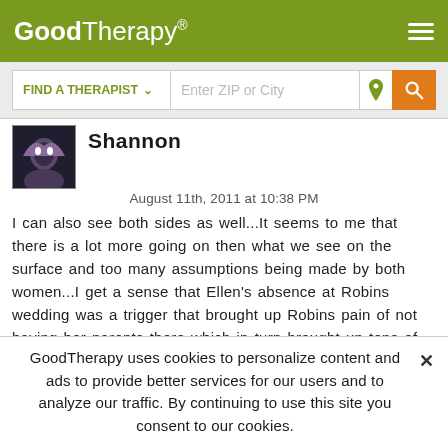GoodTherapy®
FIND A THERAPIST   Enter ZIP or City
Shannon
August 11th, 2011 at 10:38 PM
I can also see both sides as well...It seems to me that there is a lot more going on then what we see on the surface and too many assumptions being made by both women...I get a sense that Ellen's absence at Robins wedding was a trigger that brought up Robins pain of not having her parents there which in turn brought up tons of thoughts in Robins mind about Ellens character and friendship... when deep down she was probably just feeling very hurt and Ellen's decision not to come gave Robin a target subconciously to
GoodTherapy uses cookies to personalize content and ads to provide better services for our users and to analyze our traffic. By continuing to use this site you consent to our cookies.